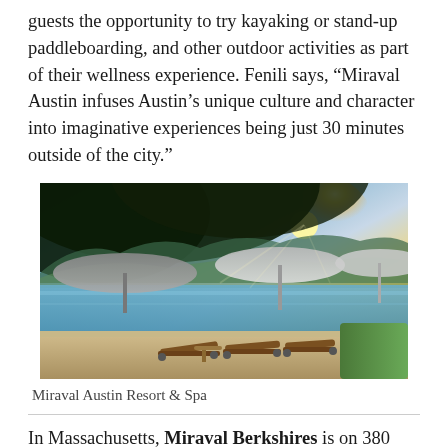guests the opportunity to try kayaking or stand-up paddleboarding, and other outdoor activities as part of their wellness experience. Fenili says, “Miraval Austin infuses Austin’s unique culture and character into imaginative experiences being just 30 minutes outside of the city.”
[Figure (photo): Outdoor pool area at Miraval Austin Resort & Spa with lounge chairs, large umbrellas, and trees with sunlight breaking through, overlooking a scenic landscape.]
Miraval Austin Resort & Spa
In Massachusetts, Miraval Berkshires is on 380 protected acres in the Berkshires countryside with stunning natural